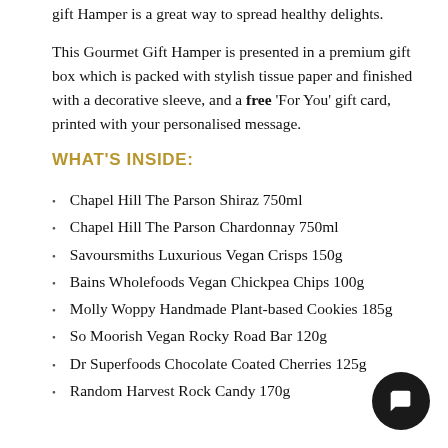gift Hamper is a great way to spread healthy delights.
This Gourmet Gift Hamper is presented in a premium gift box which is packed with stylish tissue paper and finished with a decorative sleeve, and a free 'For You' gift card, printed with your personalised message.
WHAT'S INSIDE:
Chapel Hill The Parson Shiraz 750ml
Chapel Hill The Parson Chardonnay 750ml
Savoursmiths Luxurious Vegan Crisps 150g
Bains Wholefoods Vegan Chickpea Chips 100g
Molly Woppy Handmade Plant-based Cookies 185g
So Moorish Vegan Rocky Road Bar 120g
Dr Superfoods Chocolate Coated Cherries 125g
Random Harvest Rock Candy 170g